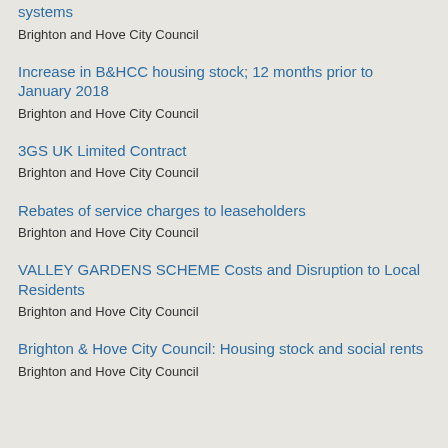systems
Brighton and Hove City Council
Increase in B&HCC housing stock; 12 months prior to January 2018
Brighton and Hove City Council
3GS UK Limited Contract
Brighton and Hove City Council
Rebates of service charges to leaseholders
Brighton and Hove City Council
VALLEY GARDENS SCHEME Costs and Disruption to Local Residents
Brighton and Hove City Council
Brighton & Hove City Council: Housing stock and social rents
Brighton and Hove City Council